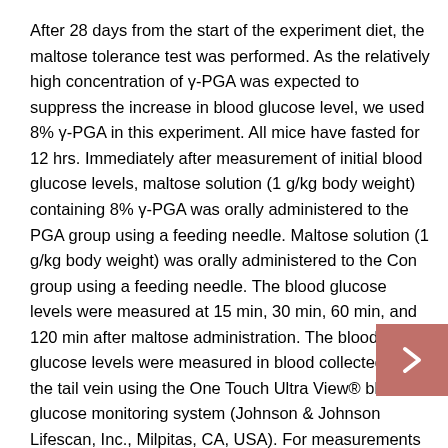After 28 days from the start of the experiment diet, the maltose tolerance test was performed. As the relatively high concentration of γ-PGA was expected to suppress the increase in blood glucose level, we used 8% γ-PGA in this experiment. All mice have fasted for 12 hrs. Immediately after measurement of initial blood glucose levels, maltose solution (1 g/kg body weight) containing 8% γ-PGA was orally administered to the PGA group using a feeding needle. Maltose solution (1 g/kg body weight) was orally administered to the Con group using a feeding needle. The blood glucose levels were measured at 15 min, 30 min, 60 min, and 120 min after maltose administration. The blood glucose levels were measured in blood collected from the tail vein using the One Touch Ultra View® blood glucose monitoring system (Johnson & Johnson Lifescan, Inc., Milpitas, CA, USA). For measurements of blood glucose, the value obtained from the maltose tolerance test was subtracted from the initial blood glucose levels. After 56 days from the start of the